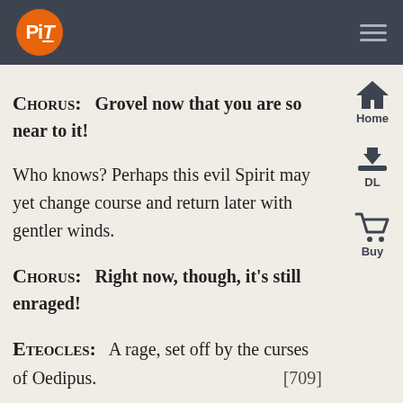PiT [logo] [hamburger menu]
CHORUS:   Grovel now that you are so near to it!
Who knows?  Perhaps this evil Spirit may yet change course and return later with gentler winds.
CHORUS:   Right now, though, it’s still enraged!
ETEOCLES:   A rage, set off by the curses of Oedipus.   [709]
The visions in my dreams are true. They come and they divide our inheritance between me and my brother.